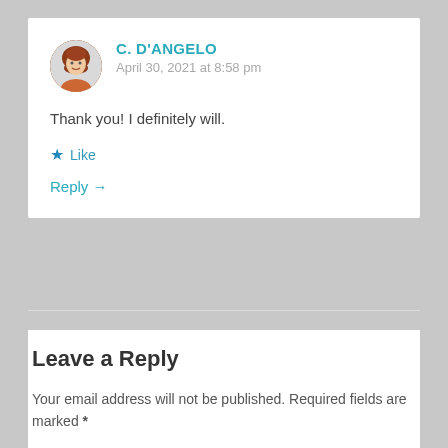[Figure (photo): Circular avatar photo of a woman with red/auburn hair]
C. D'ANGELO
April 30, 2021 at 8:58 pm
Thank you! I definitely will.
★ Like
Reply →
Leave a Reply
Your email address will not be published. Required fields are marked *
COMMENT *